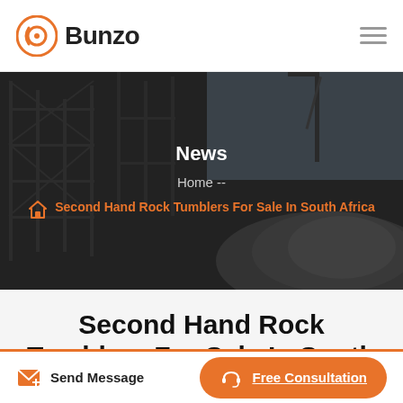Bunzo
[Figure (photo): Industrial mining/construction equipment scene with scaffolding and gravel pile, used as hero background image]
News
Home --
Second Hand Rock Tumblers For Sale In South Africa
Second Hand Rock Tumblers For Sale In South Africa
Send Message   Free Consultation